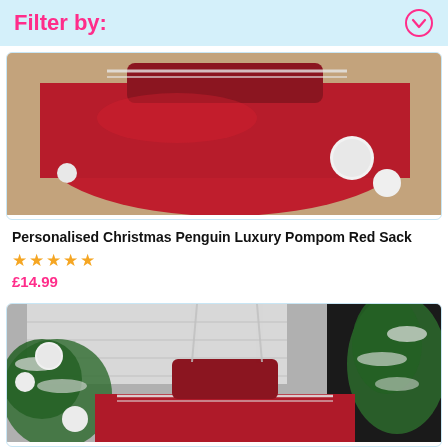Filter by:
[Figure (photo): Red velvet Christmas sack with white pompoms on carpet background]
Personalised Christmas Penguin Luxury Pompom Red Sack
★★★★★
£14.99
[Figure (photo): Red velvet Christmas sack with white pompoms near Christmas tree with snowy branches and white baubles, black and white background with selective color]